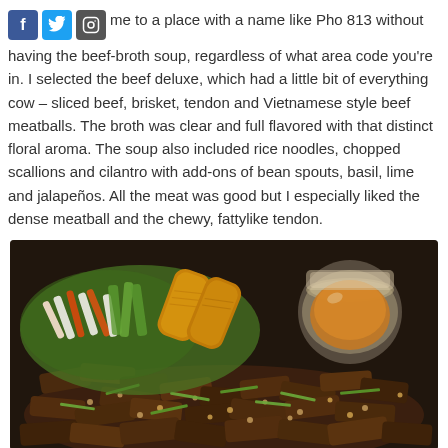me to a place with a name like Pho 813 without having the beef-broth soup, regardless of what area code you're in. I selected the beef deluxe, which had a little bit of everything cow – sliced beef, brisket, tendon and Vietnamese style beef meatballs. The broth was clear and full flavored with that distinct floral aroma. The soup also included rice noodles, chopped scallions and cilantro with add-ons of bean spouts, basil, lime and jalapeños. All the meat was good but I especially liked the dense meatball and the chewy, fattylike tendon.
[Figure (photo): A plate of Vietnamese food including egg rolls, grilled meat topped with chopped peanuts and green onions, fresh vegetables and pickled daikon/carrots, and a small jar of dipping sauce, served on a dark tray.]